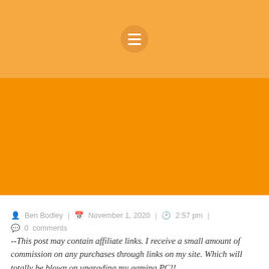[Figure (other): Light orange header banner with circular hamburger menu icon (three white horizontal lines on a slightly darker orange circle)]
[Figure (other): Solid bright orange rectangular banner/image placeholder area]
Ben Bodley | November 1, 2020 | 2:57 pm | 0 comments
--This post may contain affiliate links. I receive a small amount of commission on any purchases through links on my site. Which will totally be blown on upgrading my gaming PC!!